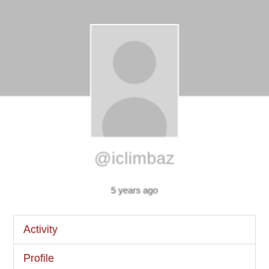[Figure (illustration): Gray banner background with default user avatar placeholder — white silhouette of a person on gray background]
@iclimbaz
5 years ago
Activity
Profile
Friends 0
Forums